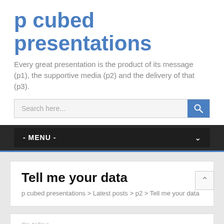p cubed presentations
Every great presentation is the product of its message (p1), the supportive media (p2) and the delivery of that (p3).
Search here...
- MENU -
Tell me your data
p cubed presentations > Latest posts > p2 > Tell me your data